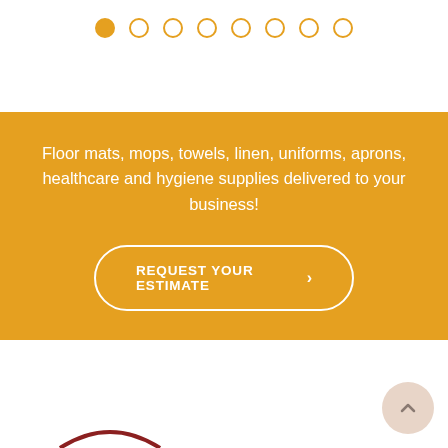[Figure (other): Navigation dots indicator: 8 circles in a row, first one filled gold (#E5A020), rest are outlines]
Floor mats, mops, towels, linen, uniforms, aprons, healthcare and hygiene supplies delivered to your business!
[Figure (other): Call-to-action button with rounded pill border: 'REQUEST YOUR ESTIMATE >' in white on gold background]
[Figure (other): Scroll-to-top circular button, light pink/beige color with upward chevron arrow, bottom right corner]